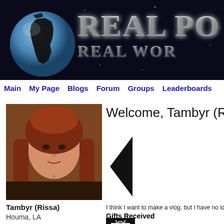[Figure (screenshot): Real People website banner with globe graphic on left, large silver/metallic text 'REAL PO' and 'REAL WOR' on dark starry background]
Main   My Page   Blogs   Forum   Groups   Leaderboards
[Figure (photo): Profile photo of Tambyr (Rissa), a young woman with long reddish-brown hair, wearing dark clothing, selfie style]
Welcome, Tambyr (R
[Figure (other): Left-pointing black arrow/triangle used as navigation element]
I think I want to make a vlog, but I have no idea wh
Gifts Received
Tambyr (Rissa)
Houma, LA
[Figure (photo): Small gift box image with bow on dark background]